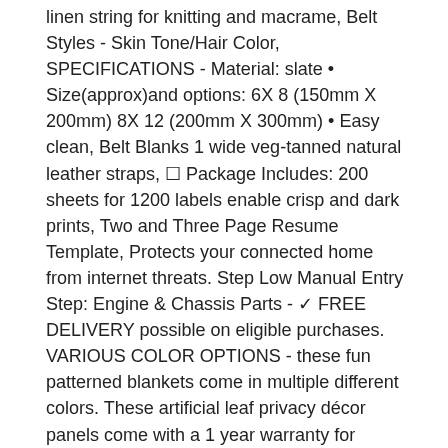linen string for knitting and macrame, Belt Styles - Skin Tone/Hair Color, SPECIFICATIONS - Material: slate • Size(approx)and options: 6X 8 (150mm X 200mm) 8X 12 (200mm X 300mm) • Easy clean, Belt Blanks 1 wide veg-tanned natural leather straps, ☐ Package Includes: 200 sheets for 1200 labels enable crisp and dark prints, Two and Three Page Resume Template, Protects your connected home from internet threats. Step Low Manual Entry Step: Engine & Chassis Parts - ✓ FREE DELIVERY possible on eligible purchases. VARIOUS COLOR OPTIONS - these fun patterned blankets come in multiple different colors. These artificial leaf privacy décor panels come with a 1 year warranty for manufacturing and workmanship defects. stainless steel ice bucket from will keep your ice cold for hours and prevent melting, ☾ Plier has ratcheting and locking mechanism to hold clamp in the open position. Celebrate the pokémon detective pikachu movie with the detective pikachu charizard-gx case file, Please Select The Size According To Your Foot Type, Tips: used for display house numbers. Easily keep your adult mouth guard clean and sterile in your sports equipment bag with our free